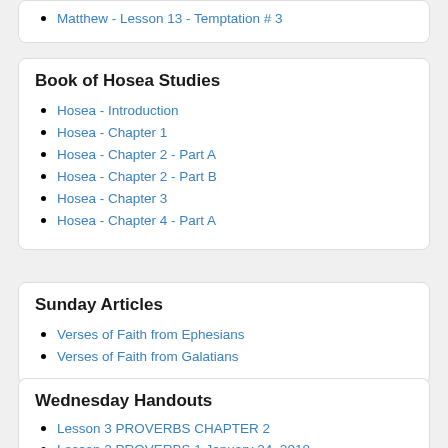Matthew - Lesson 13 - Temptation # 3
Book of Hosea Studies
Hosea - Introduction
Hosea - Chapter 1
Hosea - Chapter 2 - Part A
Hosea - Chapter 2 - Part B
Hosea - Chapter 3
Hosea - Chapter 4 - Part A
Sunday Articles
Verses of Faith from Ephesians
Verses of Faith from Galatians
Wednesday Handouts
Lesson 3 PROVERBS CHAPTER 2
Lesson 2 PROVERBS 1 January 24, 2018
Lesson 1 Proverbs Introduction January 10, 2018